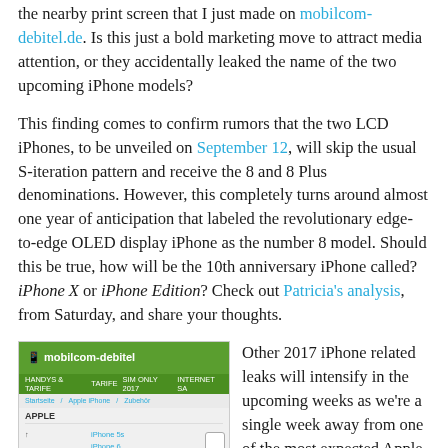the nearby print screen that I just made on mobilcom-debitel.de. Is this just a bold marketing move to attract media attention, or they accidentally leaked the name of the two upcoming iPhone models?
This finding comes to confirm rumors that the two LCD iPhones, to be unveiled on September 12, will skip the usual S-iteration pattern and receive the 8 and 8 Plus denominations. However, this completely turns around almost one year of anticipation that labeled the revolutionary edge-to-edge OLED display iPhone as the number 8 model. Should this be true, how will be the 10th anniversary iPhone called? iPhone X or iPhone Edition? Check out Patricia's analysis, from Saturday, and share your thoughts.
[Figure (screenshot): Screenshot of a website (mobilcom-debitel.de) showing a green navigation bar and a list of iPhone models in a dropdown or table.]
Other 2017 iPhone related leaks will intensify in the upcoming weeks as we're a single week away from one of the most expected Apple keynotes ever. Get in the groove and grab September